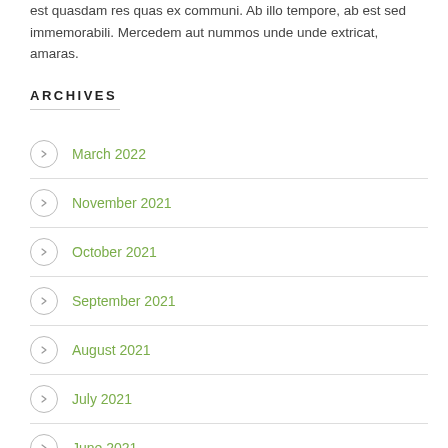est quasdam res quas ex communi. Ab illo tempore, ab est sed immemorabili. Mercedem aut nummos unde unde extricat, amaras.
ARCHIVES
March 2022
November 2021
October 2021
September 2021
August 2021
July 2021
June 2021